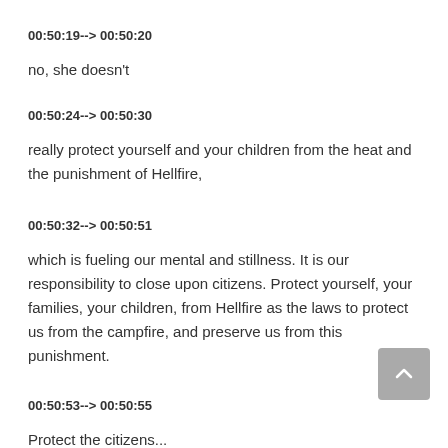00:50:19--> 00:50:20
no, she doesn't
00:50:24--> 00:50:30
really protect yourself and your children from the heat and the punishment of Hellfire,
00:50:32--> 00:50:51
which is fueling our mental and stillness. It is our responsibility to close upon citizens. Protect yourself, your families, your children, from Hellfire as the laws to protect us from the campfire, and preserve us from this punishment.
00:50:53--> 00:50:55
Protect the citizens...